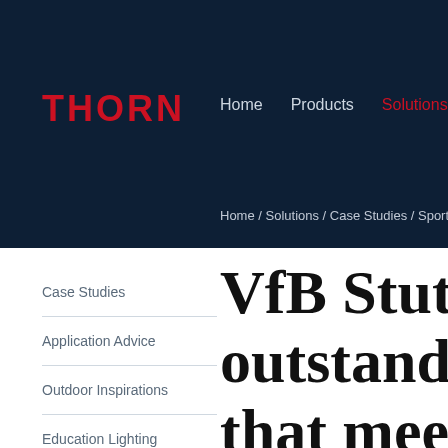THORN
Home   Products   Solutions
Home / Solutions / Case Studies / Sports / Vf...
Case Studies
Application Advice
Outdoor Inspirations
Education Lighting
Sports Lighting
VfB Stuttgart outstanding lig that meets DIN 12193